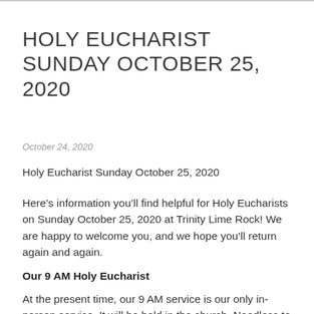HOLY EUCHARIST SUNDAY OCTOBER 25, 2020
October 24, 2020
Holy Eucharist Sunday October 25, 2020
Here’s information you’ll find helpful for Holy Eucharists on Sunday October 25, 2020 at Trinity Lime Rock! We are happy to welcome you, and we hope you’ll return again and again.
Our 9 AM Holy Eucharist
At the present time, our 9 AM service is our only in-person service. It will be held in the church. Needless to day, masks